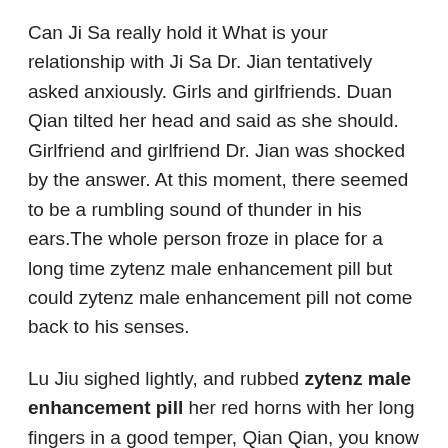Can Ji Sa really hold it What is your relationship with Ji Sa Dr. Jian tentatively asked anxiously. Girls and girlfriends. Duan Qian tilted her head and said as she should. Girlfriend and girlfriend Dr. Jian was shocked by the answer. At this moment, there seemed to be a rumbling sound of thunder in his ears.The whole person froze in place for a long time zytenz male enhancement pill but could zytenz male enhancement pill not come back to his senses.
Lu Jiu sighed lightly, and rubbed zytenz male enhancement pill her red horns with her long fingers in a good temper, Qian Qian, you know very well that being invisible can only cover your body shape, but ed supplements that really work not your breath.
He thought to himself This bastard woman is bad or bad. But as long as she was coaxed to be happy, she was quite likable.Like Yan Jing zytenz male enhancement pill Performer 8